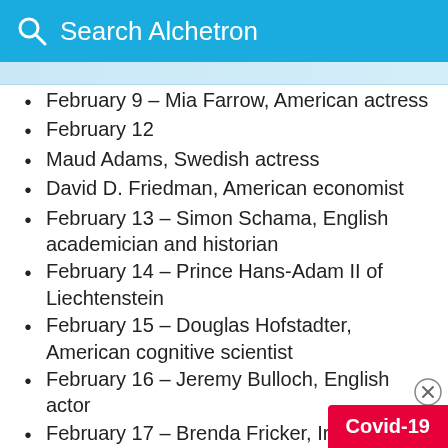Search Alchetron
February 9 – Mia Farrow, American actress
February 12
Maud Adams, Swedish actress
David D. Friedman, American economist
February 13 – Simon Schama, English academician and historian
February 14 – Prince Hans-Adam II of Liechtenstein
February 15 – Douglas Hofstadter, American cognitive scientist
February 16 – Jeremy Bulloch, English actor
February 17 – Brenda Fricker, Irish actress
February 20 – Henry Polic II, America… 2013)